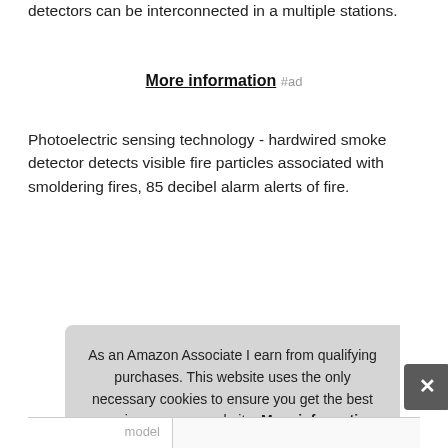detectors can be interconnected in a multiple stations.
More information #ad
Photoelectric sensing technology - hardwired smoke detector detects visible fire particles associated with smoldering fires, 85 decibel alarm alerts of fire.
|  |  |
| --- | --- |
| Brand | Kidde #ad |
| Manufacturer | Kidde Safety #ad |
| Height | 6 Inches |
| P | ... |
| model | ... |
As an Amazon Associate I earn from qualifying purchases. This website uses the only necessary cookies to ensure you get the best experience on our website. More information